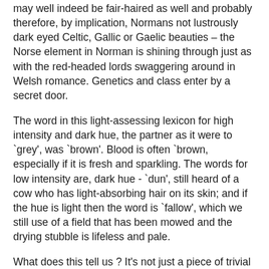may well indeed be fair-haired as well and probably therefore, by implication, Normans not lustrously dark eyed Celtic, Gallic or Gaelic beauties – the Norse element in Norman is shining through just as with the red-headed lords swaggering around in Welsh romance. Genetics and class enter by a secret door.
The word in this light-assessing lexicon for high intensity and dark hue, the partner as it were to `grey', was `brown'. Blood is often `brown, especially if it is fresh and sparkling. The words for low intensity are, dark hue - `dun', still heard of a cow who has light-absorbing hair on its skin; and if the hue is light then the word is `fallow', which we still use of a field that has been mowed and the drying stubble is lifeless and pale.
What does this tell us ? It's not just a piece of trivial connoisseurship I trust. This is a genuinely foreign element of the past, and we can learn from it, We can visit it and bring it home with us, if the travel metaphor still dominates our minds. We can go a bit further and learn when and why we lost those terms (basically by the seventeenth century) – and as with dun and fallow they do hang around, and no doubt that is why we use the oddly meaningless seeming